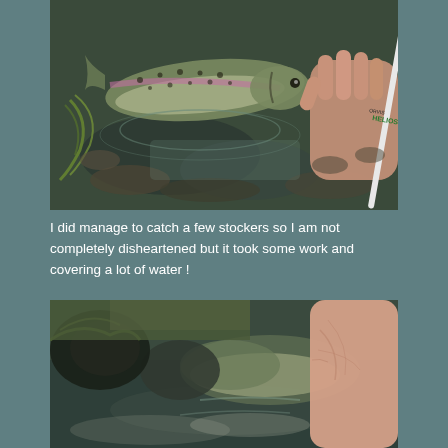[Figure (photo): A rainbow trout held by a person's hand near a stream, with a fishing rod visible. The fish is partially submerged in water with rocks visible underneath.]
I did manage to catch a few stockers so I am not completely disheartened but it took some work and covering a lot of water !
[Figure (photo): A close-up photo of a fish being held in an open hand near a stream, with water and rocks visible in the background.]